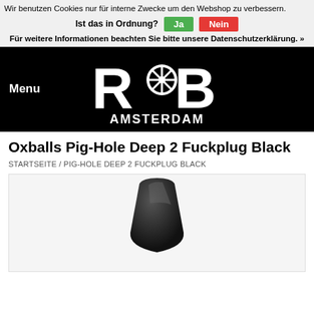Wir benutzen Cookies nur für interne Zwecke um den Webshop zu verbessern.
Ist das in Ordnung? Ja Nein
Für weitere Informationen beachten Sie bitte unsere Datenschutzerklärung. »
[Figure (logo): RoB Amsterdam logo — white text on black background, stylized R, snowflake emblem, B with AMSTERDAM below]
Menu
Oxballs Pig-Hole Deep 2 Fuckplug Black
STARTSEITE / PIG-HOLE DEEP 2 FUCKPLUG BLACK
[Figure (photo): Black silicone Oxballs Pig-Hole Deep 2 Fuckplug product photo, partial view showing the top portion of the black plug against a light grey background]